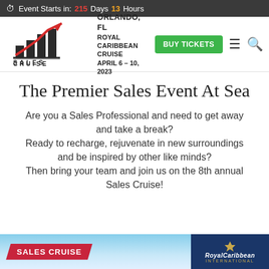Event Starts in: 215 Days 13 Hours
[Figure (logo): Sales Cruise logo with red arrow trend line over dark bar chart and 'SALES CRUISE' text]
ORLANDO, FL
ROYAL CARIBBEAN CRUISE
APRIL 6 - 10, 2023
BUY TICKETS
The Premier Sales Event At Sea
Are you a Sales Professional and need to get away and take a break? Ready to recharge, rejuvenate in new surroundings and be inspired by other like minds? Then bring your team and join us on the 8th annual Sales Cruise!
[Figure (infographic): Bottom banner with Sales Cruise ribbon text on blue sky background and Royal Caribbean International logo on dark blue background]